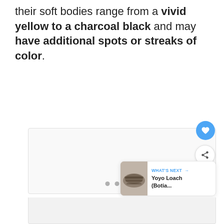their soft bodies range from a vivid yellow to a charcoal black and may have additional spots or streaks of color.
[Figure (photo): A photo placeholder area with image carousel dots and floating action buttons (heart/like and share). A 'What's Next' card shows a thumbnail of a Yoyo Loach (Botia...) fish.]